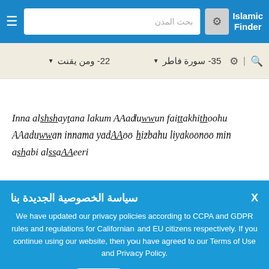Islamic Finder - search bar with بحث المدن placeholder
35- سورة فاطر  22- ومن يقنت
Inna alshshaytana lakum AAaduwwun faittakhithoohu AAaduwwan innama yadAAoo hizbahu liyakoonoo min ashabi alssaAAeeri
سياسة الخصوصية الجديدة بنا
We have updated our privacy policies according to CCPA and GDPR rules and regulations for Californian and EU citizens respectively. If you continue using our website, then you have agreed to our Terms of Use and Privacy Policy.
حسناً  او معلومات أكثر